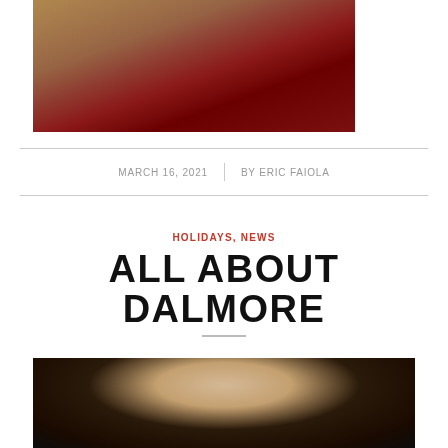[Figure (photo): A whiskey bottle with a red velvet bag on a wooden surface, in what appears to be a liquor store]
MARCH 16, 2021 | BY ERIC FAIOLA
HOLIDAYS, NEWS
ALL ABOUT DALMORE
[Figure (photo): Close-up photo showing hands holding or presenting something, partially visible at bottom of page]